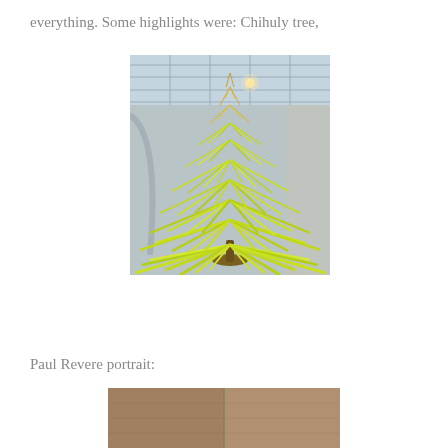everything. Some highlights were: Chihuly tree,
[Figure (photo): A tall Chihuly glass art tree sculpture with bright yellow-green spiky glass fronds arranged in a conical/tree shape, photographed from below inside a modern building with glass ceiling panels and curved architectural elements.]
Paul Revere portrait:
[Figure (photo): Partial view of a Paul Revere portrait painting, showing what appears to be a dark-toned historical portrait.]